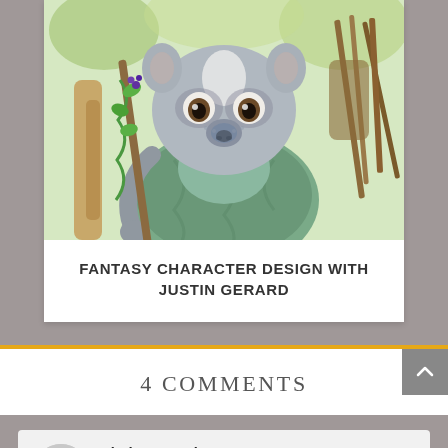[Figure (illustration): Fantasy character design illustration: a small raccoon-like creature with large expressive eyes, holding a wooden staff with green vine, wearing a braided green cloak, with arrows/quiver on its back, set against a painterly forest background. Watercolor/colored pencil style artwork by Justin Gerard.]
FANTASY CHARACTER DESIGN WITH JUSTIN GERARD
4 COMMENTS
Lindsay Gravina on September 29, 2015 at 12:50 pm
Awards create community. I think it's